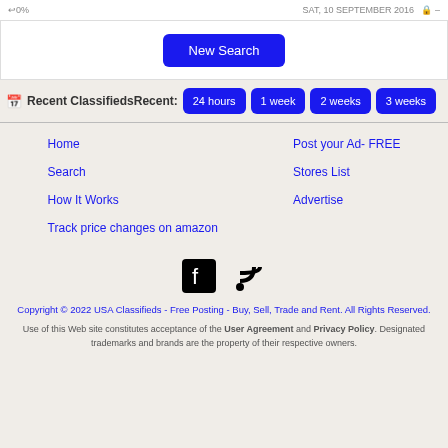↩0%   SAT, 10 SEPTEMBER 2016
New Search
Recent ClassifiedsRecent: 24 hours 1 week 2 weeks 3 weeks
Home
Post your Ad- FREE
Search
Stores List
How It Works
Advertise
Track price changes on amazon
[Figure (logo): Facebook and RSS social media icons]
Copyright © 2022 USA Classifieds - Free Posting - Buy, Sell, Trade and Rent. All Rights Reserved.
Use of this Web site constitutes acceptance of the User Agreement and Privacy Policy. Designated trademarks and brands are the property of their respective owners.